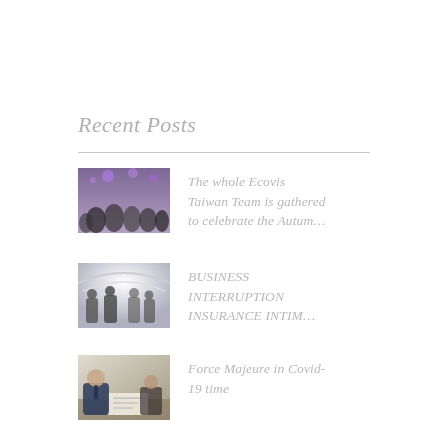Recent Posts
[Figure (photo): Group photo of Ecovis Taiwan team gathered together indoors with purple lighting]
The whole Ecovis Taiwan Team is gathered to celebrate the Autum…
[Figure (photo): Business people in a bright modern interior, networking or meeting]
BUSINESS INTERRUPTION INSURANCE INTIM…
[Figure (photo): A man in a suit sitting at a desk reviewing documents]
Force Majeure in Covid-19 time